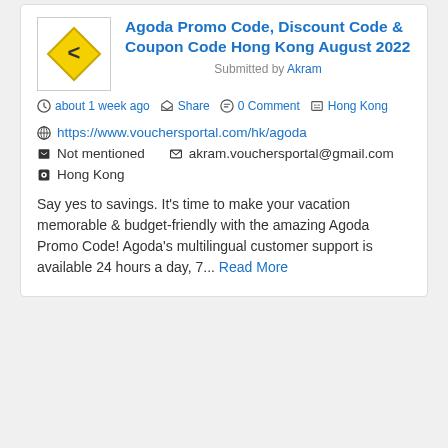Agoda Promo Code, Discount Code & Coupon Code Hong Kong August 2022
Submitted by Akram
about 1 week ago  Share  0 Comment  Hong Kong
https://www.vouchersportal.com/hk/agoda
Not mentioned    akram.vouchersportal@gmail.com
Hong Kong
Say yes to savings. It's time to make your vacation memorable & budget-friendly with the amazing Agoda Promo Code! Agoda's multilingual customer support is available 24 hours a day, 7... Read More